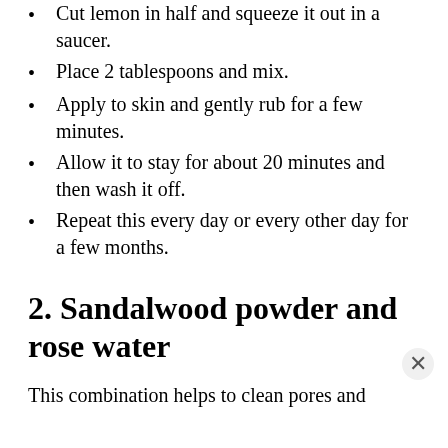Cut lemon in half and squeeze it out in a saucer.
Place 2 tablespoons and mix.
Apply to skin and gently rub for a few minutes.
Allow it to stay for about 20 minutes and then wash it off.
Repeat this every day or every other day for a few months.
2. Sandalwood powder and rose water
This combination helps to clean pores and